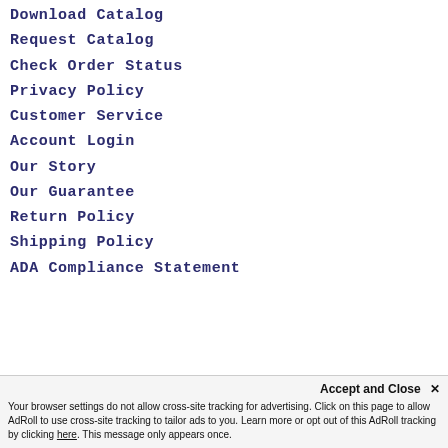Download Catalog
Request Catalog
Check Order Status
Privacy Policy
Customer Service
Account Login
Our Story
Our Guarantee
Return Policy
Shipping Policy
ADA Compliance Statement
Accept and Close ×
Your browser settings do not allow cross-site tracking for advertising. Click on this page to allow AdRoll to use cross-site tracking to tailor ads to you. Learn more or opt out of this AdRoll tracking by clicking here. This message only appears once.